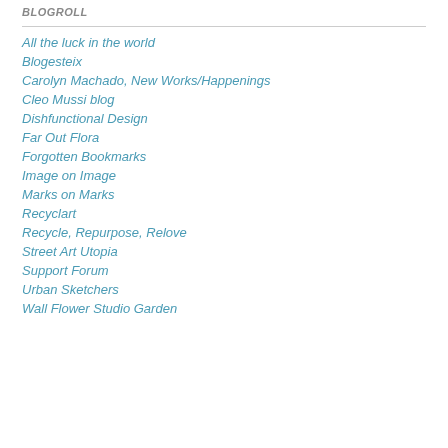BLOGROLL
All the luck in the world
Blogesteix
Carolyn Machado, New Works/Happenings
Cleo Mussi blog
Dishfunctional Design
Far Out Flora
Forgotten Bookmarks
Image on Image
Marks on Marks
Recyclart
Recycle, Repurpose, Relove
Street Art Utopia
Support Forum
Urban Sketchers
Wall Flower Studio Garden